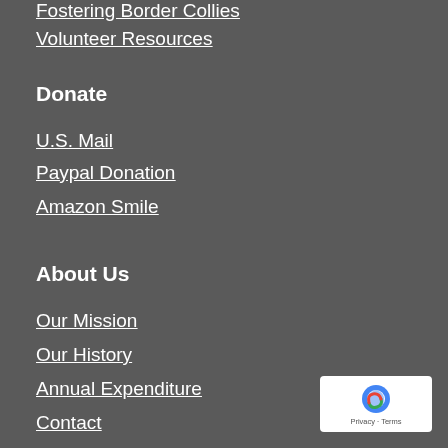Fostering Border Collies
Volunteer Resources
Donate
U.S. Mail
Paypal Donation
Amazon Smile
About Us
Our Mission
Our History
Annual Expenditure
Contact
[Figure (logo): reCAPTCHA badge with Privacy and Terms text]